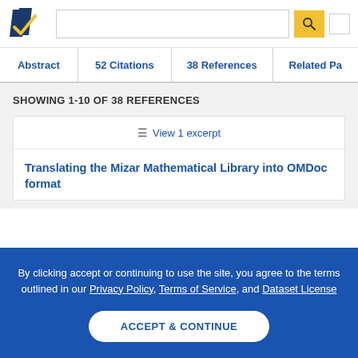Semantic Scholar header with logo, search bar, search button, and menu
Abstract | 52 Citations | 38 References | Related Pa...
SHOWING 1-10 OF 38 REFERENCES
≡ View 1 excerpt
Translating the Mizar Mathematical Library into OMDoc format
By clicking accept or continuing to use the site, you agree to the terms outlined in our Privacy Policy, Terms of Service, and Dataset License
ACCEPT & CONTINUE